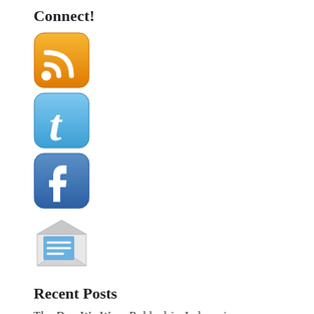Connect!
[Figure (illustration): RSS feed icon - orange rounded square with white RSS symbol]
[Figure (illustration): Twitter icon - light blue rounded square with white lowercase t]
[Figure (illustration): Facebook icon - dark blue rounded square with white lowercase f]
[Figure (illustration): Email icon - open envelope with blue letter inside]
Recent Posts
The Day We Were Robbed in Indonesia
Ciater Hot Springs – Ciater Indonesia
Christmas with the Village People